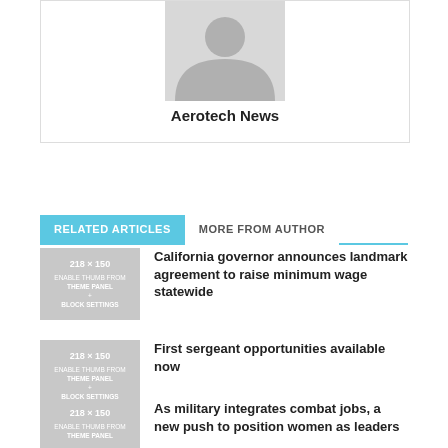[Figure (illustration): Gray placeholder avatar silhouette (person icon) inside a bordered author card]
Aerotech News
RELATED ARTICLES   MORE FROM AUTHOR
California governor announces landmark agreement to raise minimum wage statewide
First sergeant opportunities available now
As military integrates combat jobs, a new push to position women as leaders